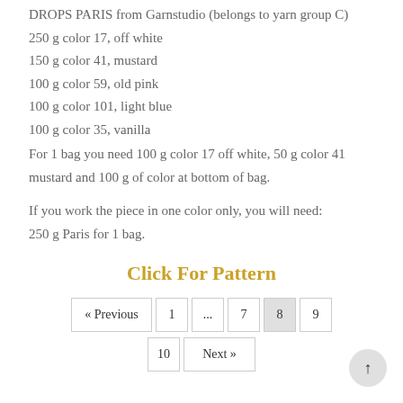DROPS PARIS from Garnstudio (belongs to yarn group C)
250 g color 17, off white
150 g color 41, mustard
100 g color 59, old pink
100 g color 101, light blue
100 g color 35, vanilla
For 1 bag you need 100 g color 17 off white, 50 g color 41 mustard and 100 g of color at bottom of bag.
If you work the piece in one color only, you will need:
250 g Paris for 1 bag.
Click For Pattern
« Previous  1  ...  7  8  9  10  Next »